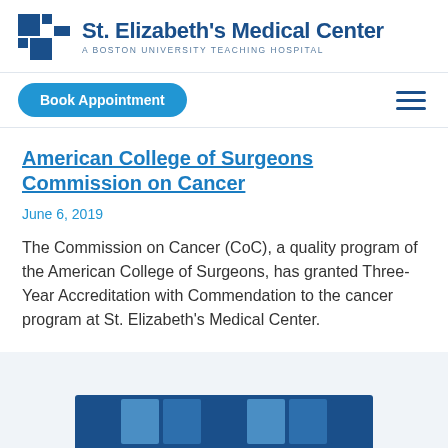[Figure (logo): St. Elizabeth's Medical Center logo — blue cross/squares icon with hospital name and subtitle 'A Boston University Teaching Hospital']
American College of Surgeons Commission on Cancer
June 6, 2019
The Commission on Cancer (CoC), a quality program of the American College of Surgeons, has granted Three-Year Accreditation with Commendation to the cancer program at St. Elizabeth's Medical Center.
[Figure (photo): Partial bottom image, appears to be a blue-toned photo related to the article, cropped at bottom of page]